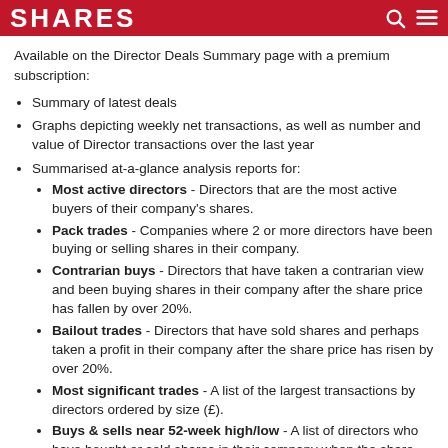SHARES
Available on the Director Deals Summary page with a premium subscription:
Summary of latest deals
Graphs depicting weekly net transactions, as well as number and value of Director transactions over the last year
Summarised at-a-glance analysis reports for:
Most active directors - Directors that are the most active buyers of their company's shares.
Pack trades - Companies where 2 or more directors have been buying or selling shares in their company.
Contrarian buys - Directors that have taken a contrarian view and been buying shares in their company after the share price has fallen by over 20%.
Bailout trades - Directors that have sold shares and perhaps taken a profit in their company after the share price has risen by over 20%.
Most significant trades - A list of the largest transactions by directors ordered by size (£).
Buys & sells near 52-week high/low - A list of directors who have bought or sold shares in their company when the share...